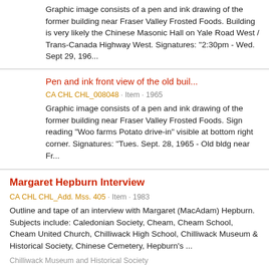Graphic image consists of a pen and ink drawing of the former building near Fraser Valley Frosted Foods. Building is very likely the Chinese Masonic Hall on Yale Road West / Trans-Canada Highway West. Signatures: "2:30pm - Wed. Sept 29, 196...
Pen and ink front view of the old buil...
CA CHL CHL_008048 · Item · 1965
Graphic image consists of a pen and ink drawing of the former building near Fraser Valley Frosted Foods. Sign reading "Woo farms Potato drive-in" visible at bottom right corner. Signatures: "Tues. Sept. 28, 1965 - Old bldg near Fr...
Margaret Hepburn Interview
CA CHL CHL_Add. Mss. 405 · Item · 1983
Outline and tape of an interview with Margaret (MacAdam) Hepburn. Subjects include: Caledonian Society, Cheam, Cheam School, Cheam United Church, Chilliwack High School, Chilliwack Museum & Historical Society, Chinese Cemetery, Hepburn's ...
Chilliwack Museum and Historical Society
Margaret of Chilliwack Sist...